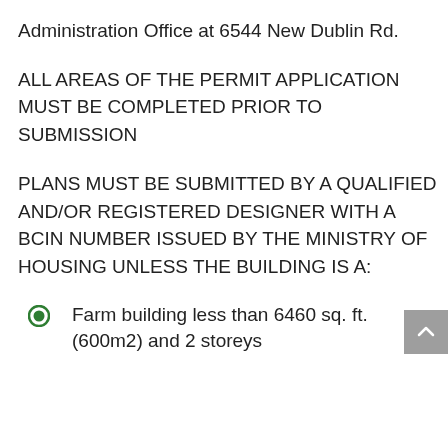Administration Office at 6544 New Dublin Rd.
ALL AREAS OF THE PERMIT APPLICATION MUST BE COMPLETED PRIOR TO SUBMISSION
PLANS MUST BE SUBMITTED BY A QUALIFIED AND/OR REGISTERED DESIGNER WITH A BCIN NUMBER ISSUED BY THE MINISTRY OF HOUSING UNLESS THE BUILDING IS A:
Farm building less than 6460 sq. ft. (600m2) and 2 storeys